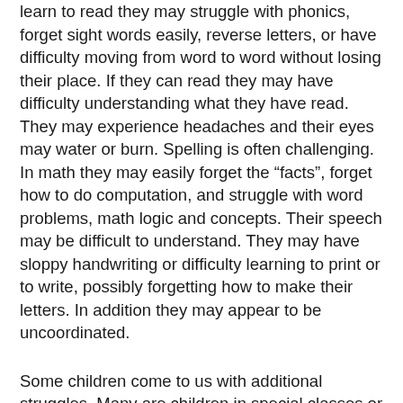learn to read they may struggle with phonics, forget sight words easily, reverse letters, or have difficulty moving from word to word without losing their place. If they can read they may have difficulty understanding what they have read. They may experience headaches and their eyes may water or burn. Spelling is often challenging. In math they may easily forget the “facts”, forget how to do computation, and struggle with word problems, math logic and concepts. Their speech may be difficult to understand. They may have sloppy handwriting or difficulty learning to print or to write, possibly forgetting how to make their letters. In addition they may appear to be uncoordinated.
Some children come to us with additional struggles. Many are children in special classes or therapy programs. They have tactile or sensory dysfunction which may appear as poor behavior or impulsivness, inability to feel pressure or pain appropriately, extreme ticklishness, irritation from clothing, inability to distinguish temperatures, inability to tolerate hats, hair combing or hair washing. They may be extremely picky eaters, eating only a narrow variety of foods. They may have flat tonality in the voice, hypersensitivity to